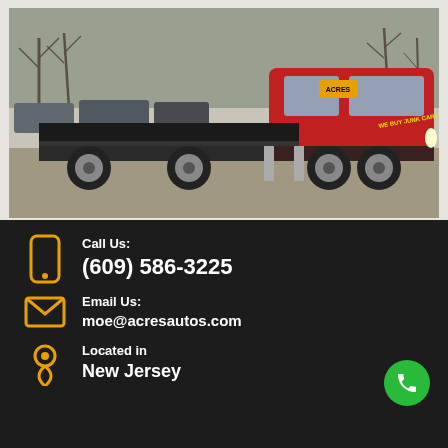[Figure (photo): Red ACRES flatbed tow truck parked in a lot with cars and bare trees in the background. The truck has 'WE BUY JUNK CARS' text on the side.]
Call Us:
(609) 586-3225
Email Us:
moe@acresautos.com
Located in
New Jersey